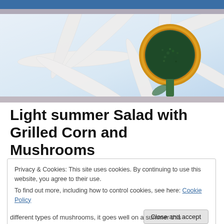[Figure (photo): Close-up photo of a white daisy flower with a green and yellow center, shot from below against a light blue-white background]
Light summer Salad with Grilled Corn and Mushrooms
Privacy & Cookies: This site uses cookies. By continuing to use this website, you agree to their use.
To find out more, including how to control cookies, see here: Cookie Policy

Close and accept
different types of mushrooms, it goes well on a summer this